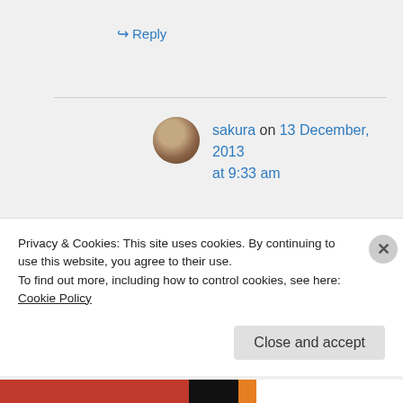↪ Reply
sakura on 13 December, 2013 at 9:33 am
That's one of the pleasures of reading – it often leads you to books you've never thought of trying. Love that!
↪ Reply
Privacy & Cookies: This site uses cookies. By continuing to use this website, you agree to their use. To find out more, including how to control cookies, see here: Cookie Policy
Close and accept